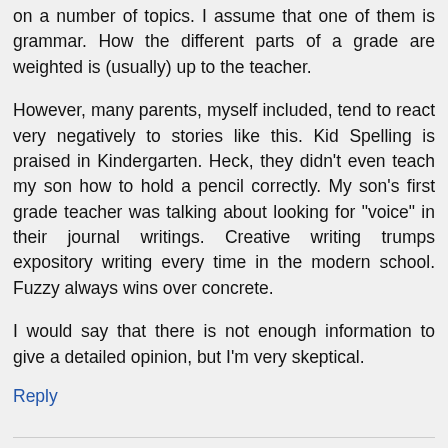on a number of topics. I assume that one of them is grammar. How the different parts of a grade are weighted is (usually) up to the teacher.
However, many parents, myself included, tend to react very negatively to stories like this. Kid Spelling is praised in Kindergarten. Heck, they didn't even teach my son how to hold a pencil correctly. My son's first grade teacher was talking about looking for "voice" in their journal writings. Creative writing trumps expository writing every time in the modern school. Fuzzy always wins over concrete.
I would say that there is not enough information to give a detailed opinion, but I'm very skeptical.
Reply
Anonymous December 22, 2006 7:20 AM
Kid Spelling is praised in Kindergarten. Heck, they didn't even teach my son how to hold a pencil correctly. My son's first grade teacher was talking about looking for "voice" in their journal writings. Creative writing trumps expository